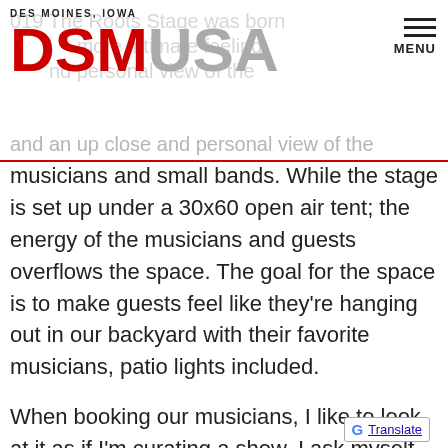DSM USA — DES MOINES, IOWA
and an up close and personal view of the musicians and small bands. While the stage is set up under a 30x60 open air tent; the energy of the musicians and guests overflows the space. The goal for the space is to make guests feel like they're hanging out in our backyard with their favorite musicians, patio lights included.
When booking our musicians, I like to look at it as if I'm curating a show. I ask myself the following: